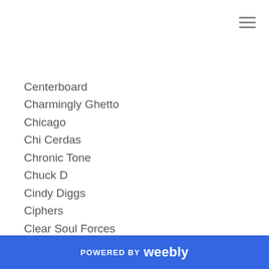Centerboard
Charmingly Ghetto
Chicago
Chi Cerdas
Chronic Tone
Chuck D
Cindy Diggs
Ciphers
Clear Soul Forces
Clinical
Code Nine
Comedy
Community Enrichment
POWERED BY weebly